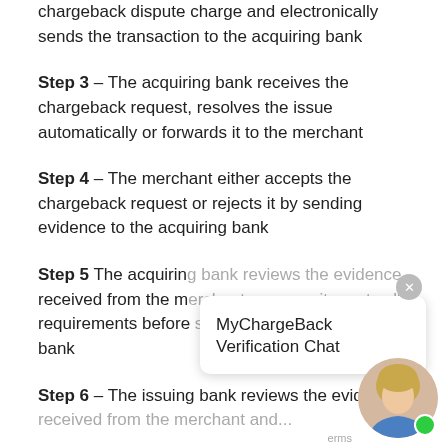chargeback dispute charge and electronically sends the transaction to the acquiring bank
Step 3 – The acquiring bank receives the chargeback request, resolves the issue automatically or forwards it to the merchant
Step 4 – The merchant either accepts the chargeback request or rejects it by sending evidence to the acquiring bank
Step 5 The acquiring bank reviews the evidence received from the merchant, ensures it meets all requirements before sending it to the issuing bank
Step 6 – The issuing bank reviews the evidence received from the merchant and...